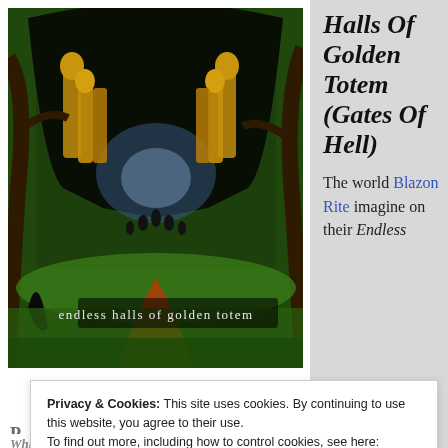[Figure (illustration): Fantasy album artwork for 'Endless Halls of Golden Totem' — a dark forest cave entrance with golden totem statues and hooded figures, with text overlay reading 'endless halls of golden totem']
Gates Of Hell Records
Halls Of Golden Totem (Gates Of Hell)
The world Blazon Rite imagine on their Endless
Privacy & Cookies: This site uses cookies. By continuing to use this website, you agree to their use. To find out more, including how to control cookies, see here: Cookie Policy
Close and accept
While the band doesn't necessarily do anything new with it,